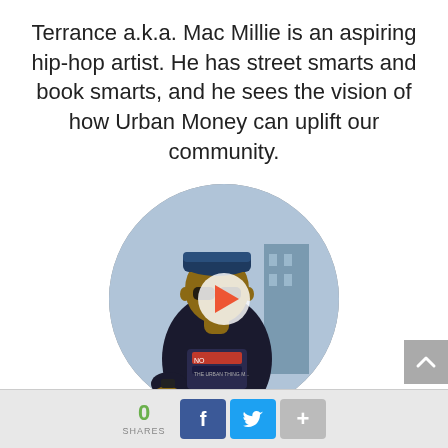Terrance a.k.a. Mac Millie is an aspiring hip-hop artist. He has street smarts and book smarts, and he sees the vision of how Urban Money can uplift our community.
[Figure (photo): Circular cropped photo of a man wearing sunglasses and a dark hoodie with a cap, sitting outdoors. A white play button overlay is centered on the image indicating a video.]